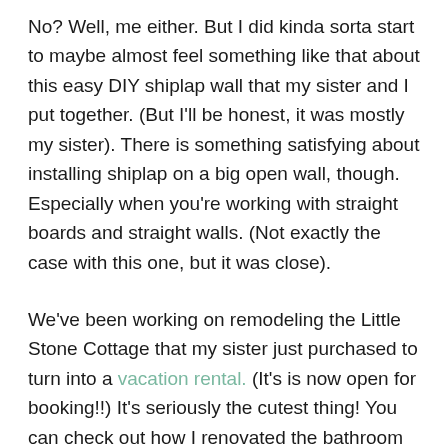No? Well, me either. But I did kinda sorta start to maybe almost feel something like that about this easy DIY shiplap wall that my sister and I put together. (But I'll be honest, it was mostly my sister). There is something satisfying about installing shiplap on a big open wall, though. Especially when you're working with straight boards and straight walls. (Not exactly the case with this one, but it was close).
We've been working on remodeling the Little Stone Cottage that my sister just purchased to turn into a vacation rental. (It's is now open for booking!!) It's seriously the cutest thing! You can check out how I renovated the bathroom by painting and installing beadboard wainscoting on the walls,